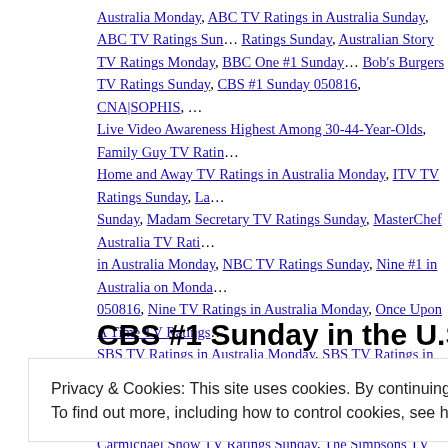Australia Monday, ABC TV Ratings in Australia Sunday, ABC TV Ratings Sun... Ratings Sunday, Australian Story TV Ratings Monday, BBC One #1 Sunday... Bob's Burgers TV Ratings Sunday, CBS #1 Sunday 050816, CNA|SOPHIS... Live Video Awareness Highest Among 30-44-Year-Olds, Family Guy TV Ratin... Home and Away TV Ratings in Australia Monday, ITV TV Ratings Sunday, La... Sunday, Madam Secretary TV Ratings Sunday, MasterChef Australia TV Rati... in Australia Monday, NBC TV Ratings Sunday, Nine #1 in Australia on Monda... 050816, Nine TV Ratings in Australia Monday, Once Upon A Time TV Ratings... SBS TV Ratings in Australia Monday, SBS TV Ratings in Australia Sunday, S... Seven TV Ratings Sunday in Australia, Ten TV Ratings in Australia Monday, ... Carmichael Show TV Ratings Sunday, The Simpsons TV Ratings Sunday | Le...
CBS #1 Sunday in the U.S. ITV #1 in the U...
Posted on April 25, 2016 by overtheshouldermlb
'It's All About Screens.' This is the Daily Diary of Screens. Sun...
Privacy & Cookies: This site uses cookies. By continuing to use this website, you agree to their use.
To find out more, including how to control cookies, see here: Our Cookie Policy